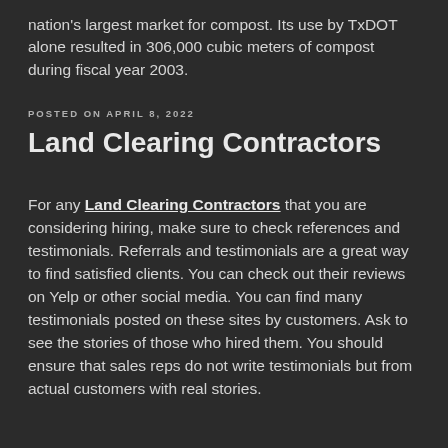nation's largest market for compost. Its use by TxDOT alone resulted in 306,000 cubic meters of compost during fiscal year 2003.
POSTED ON APRIL 8, 2022
Land Clearing Contractors
For any Land Clearing Contractors that you are considering hiring, make sure to check references and testimonials. Referrals and testimonials are a great way to find satisfied clients. You can check out their reviews on Yelp or other social media. You can find many testimonials posted on these sites by customers. Ask to see the stories of those who hired them. You should ensure that sales reps do not write testimonials but from actual customers with real stories.